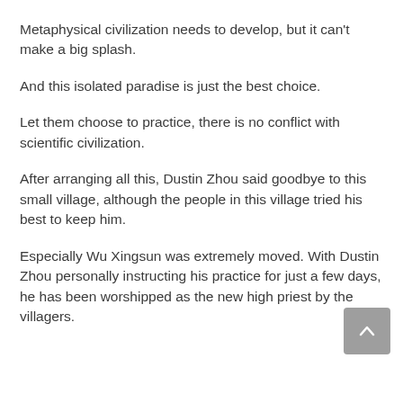Metaphysical civilization needs to develop, but it can't make a big splash.
And this isolated paradise is just the best choice.
Let them choose to practice, there is no conflict with scientific civilization.
After arranging all this, Dustin Zhou said goodbye to this small village, although the people in this village tried his best to keep him.
Especially Wu Xingsun was extremely moved. With Dustin Zhou personally instructing his practice for just a few days, he has been worshipped as the new high priest by the villagers.